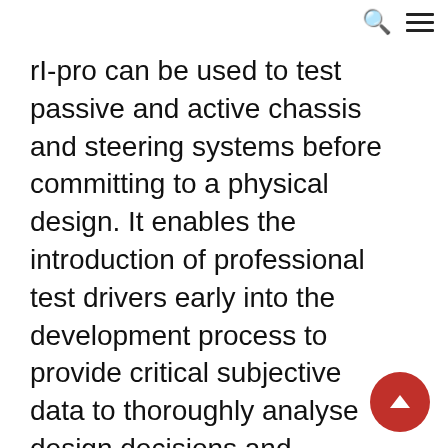[search icon] [menu icon]
rI-pro can be used to test passive and active chassis and steering systems before committing to a physical design. It enables the introduction of professional test drivers early into the development process to provide critical subjective data to thoroughly analyse design decisions and platform architectures.